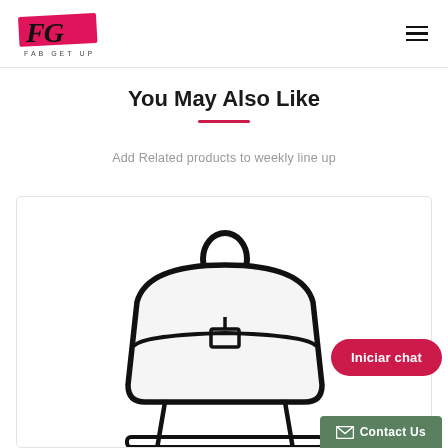FG FAB GET UP
You May Also Like
Add Related products to weekly line up
[Figure (illustration): Line drawing illustration of a backpack/bag, partially visible, on a white product card with light border]
Iniciar chat
Contact Us